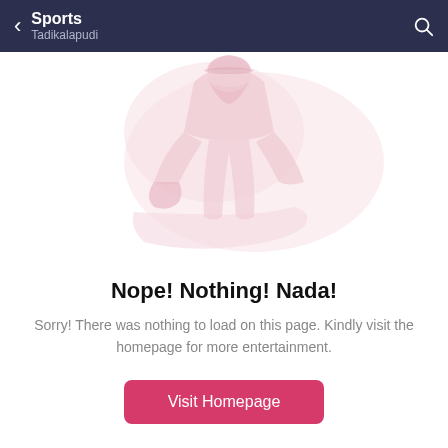Sports
Tadikalapudi
[Figure (illustration): Faded pink illustration of a person in a sports pose (appears to be a cricket or sports player), partially visible, on white background]
Nope! Nothing! Nada!
Sorry! There was nothing to load on this page. Kindly visit the homepage for more entertainment.
Visit Homepage